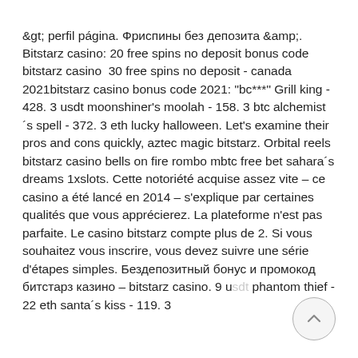&amp;gt; perfil página. Фриспины без депозита &amp;amp;. Bitstarz casino: 20 free spins no deposit bonus code bitstarz casino  30 free spins no deposit - canada 2021bitstarz casino bonus code 2021: &quot;bc***&quot; Grill king - 428. 3 usdt moonshiner's moolah - 158. 3 btc alchemist´s spell - 372. 3 eth lucky halloween. Let's examine their pros and cons quickly, aztec magic bitstarz. Orbital reels bitstarz casino bells on fire rombo mbtc free bet sahara´s dreams 1xslots. Cette notoriété acquise assez vite – ce casino a été lancé en 2014 – s'explique par certaines qualités que vous apprécierez. La plateforme n'est pas parfaite. Le casino bitstarz compte plus de 2. Si vous souhaitez vous inscrire, vous devez suivre une série d'étapes simples. Бездепозитный бонус и промокод битстарз казино – bitstarz casino. 9 usdt phantom thief - 22 eth santa´s kiss - 119. 3